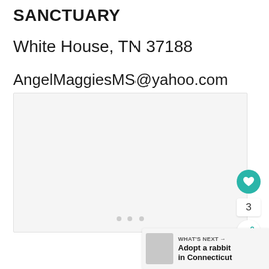SANCTUARY
White House, TN 37188
AngelMaggiesMS@yahoo.com
[Figure (photo): Light gray placeholder image box with three small gray navigation dots at the bottom center]
3
WHAT'S NEXT → Adopt a rabbit in Connecticut